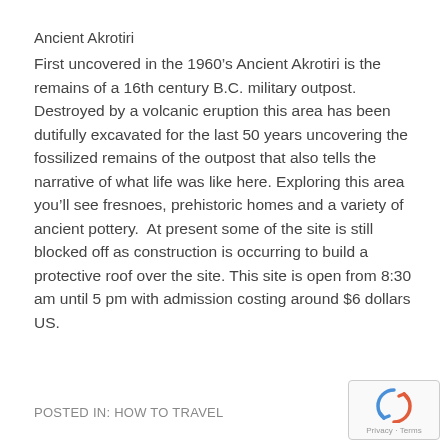Ancient Akrotiri
First uncovered in the 1960’s Ancient Akrotiri is the remains of a 16th century B.C. military outpost. Destroyed by a volcanic eruption this area has been dutifully excavated for the last 50 years uncovering the fossilized remains of the outpost that also tells the narrative of what life was like here. Exploring this area you’ll see fresnoes, prehistoric homes and a variety of ancient pottery.  At present some of the site is still blocked off as construction is occurring to build a protective roof over the site. This site is open from 8:30 am until 5 pm with admission costing around $6 dollars US.
POSTED IN: HOW TO TRAVEL
[Figure (logo): reCAPTCHA badge with recycling-style arrow logo and Privacy - Terms text]